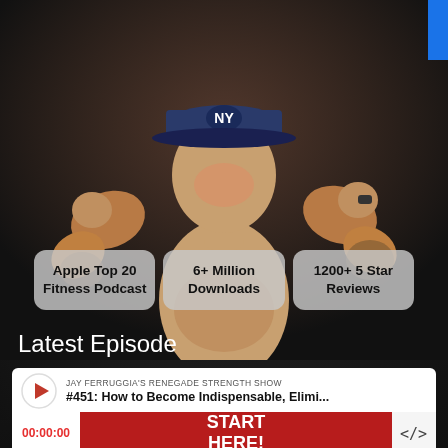[Figure (photo): Tattooed muscular man flexing biceps, shirtless, wearing a NY Yankees cap, against a dark background. Website screenshot for Jay Ferruggia's Renegade Strength Show podcast.]
Apple Top 20 Fitness Podcast
6+ Million Downloads
1200+ 5 Star Reviews
Latest Episode
JAY FERRUGGIA'S RENEGADE STRENGTH SHOW
#451: How to Become Indispensable, Elimi...
START HERE!
00:00:00